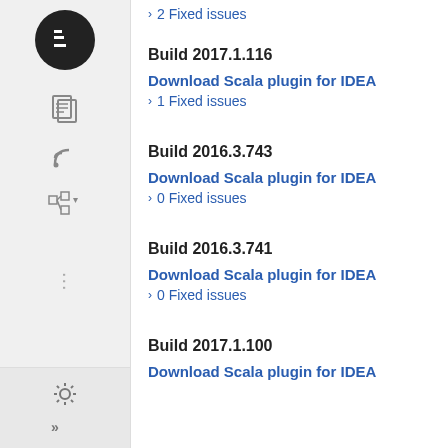2 Fixed issues
Build 2017.1.116
Download Scala plugin for IDEA
1 Fixed issues
Build 2016.3.743
Download Scala plugin for IDEA
0 Fixed issues
Build 2016.3.741
Download Scala plugin for IDEA
0 Fixed issues
Build 2017.1.100
Download Scala plugin for IDEA